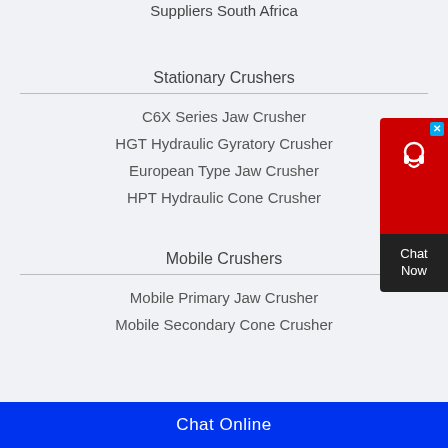Suppliers South Africa
Stationary Crushers
C6X Series Jaw Crusher
HGT Hydraulic Gyratory Crusher
European Type Jaw Crusher
HPT Hydraulic Cone Crusher
Mobile Crushers
Mobile Primary Jaw Crusher
Mobile Secondary Cone Crusher
Chat Online